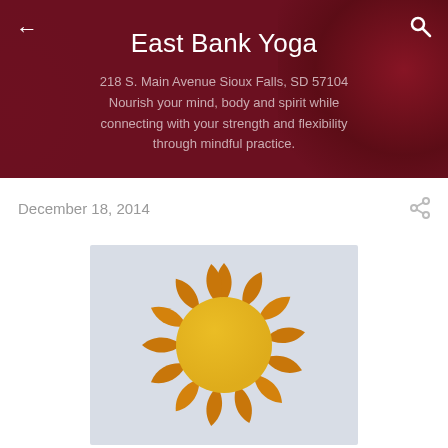East Bank Yoga
218 S. Main Avenue Sioux Falls, SD 57104
Nourish your mind, body and spirit while connecting with your strength and flexibility through mindful practice.
December 18, 2014
[Figure (illustration): Stylized sun illustration with orange flame-like rays surrounding a yellow circular center, on a light blue-gray background]